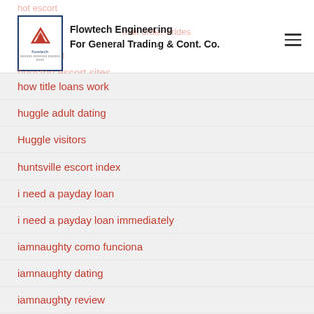Flowtech Engineering For General Trading & Cont. Co.
how title loans work
huggle adult dating
Huggle visitors
huntsville escort index
i need a payday loan
i need a payday loan immediately
iamnaughty como funciona
iamnaughty dating
iamnaughty review
iamnaughty reviews
iamnaughty-recenze Seznamka